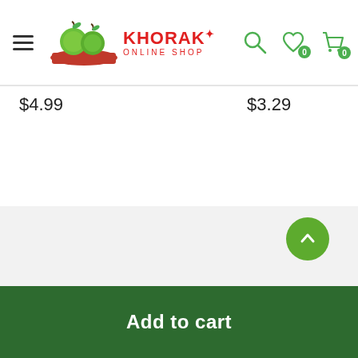[Figure (screenshot): Khorak Online Shop header with hamburger menu, logo with green apples and red banner, search icon, heart/wishlist icon with 0 badge, and cart icon with 0 badge]
$4.99
$3.29
[Figure (other): Carousel pagination dots: one filled green dot followed by 11 empty circle dots]
[Figure (other): Scroll to top button — green circle with upward chevron arrow]
Add to cart